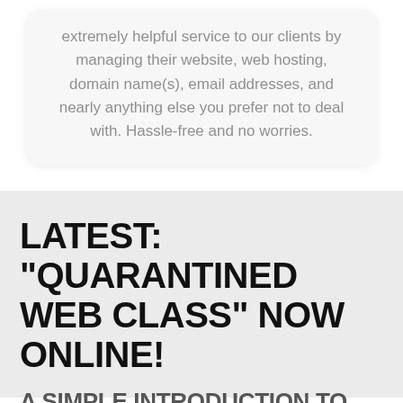extremely helpful service to our clients by managing their website, web hosting, domain name(s), email addresses, and nearly anything else you prefer not to deal with. Hassle-free and no worries.
LATEST: "QUARANTINED WEB CLASS" NOW ONLINE!
A SIMPLE INTRODUCTION TO WEBSITE DESIGN &